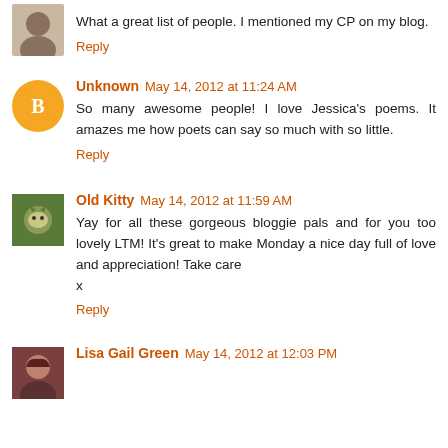[Figure (photo): Small circular user avatar thumbnail (partial, top of page)]
What a great list of people. I mentioned my CP on my blog.
Reply
[Figure (illustration): Orange circle avatar with Blogger 'B' icon for Unknown user]
Unknown May 14, 2012 at 11:24 AM
So many awesome people! I love Jessica's poems. It amazes me how poets can say so much with so little.
Reply
[Figure (photo): Small square photo avatar of Old Kitty (cat image)]
Old Kitty May 14, 2012 at 11:59 AM
Yay for all these gorgeous bloggie pals and for you too lovely LTM! It's great to make Monday a nice day full of love and appreciation! Take care
x
Reply
[Figure (photo): Small square photo avatar of Lisa Gail Green]
Lisa Gail Green May 14, 2012 at 12:03 PM